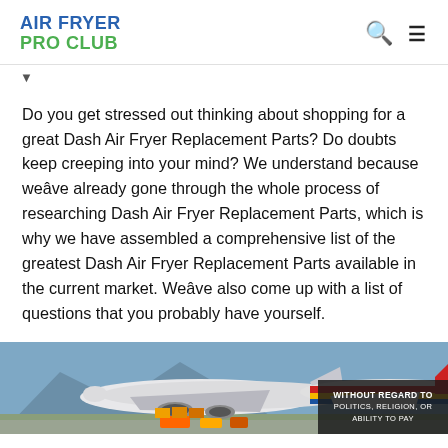AIR FRYER PRO CLUB
Do you get stressed out thinking about shopping for a great Dash Air Fryer Replacement Parts? Do doubts keep creeping into your mind? We understand because weâve already gone through the whole process of researching Dash Air Fryer Replacement Parts, which is why we have assembled a comprehensive list of the greatest Dash Air Fryer Replacement Parts available in the current market. Weâve also come up with a list of questions that you probably have yourself.
[Figure (photo): Advertisement banner showing cargo airplanes with overlay text 'WITHOUT REGARD TO POLITICS, RELIGION, OR ABILITY TO PAY']